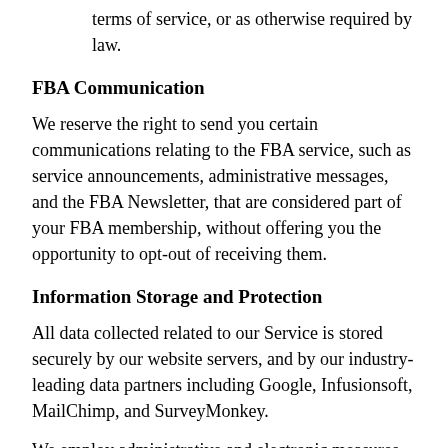terms of service, or as otherwise required by law.
FBA Communication
We reserve the right to send you certain communications relating to the FBA service, such as service announcements, administrative messages, and the FBA Newsletter, that are considered part of your FBA membership, without offering you the opportunity to opt-out of receiving them.
Information Storage and Protection
All data collected related to our Service is stored securely by our website servers, and by our industry-leading data partners including Google, Infusionsoft, MailChimp, and SurveyMonkey.
We employ administrative and electronic measures designed to appropriately protect your personal